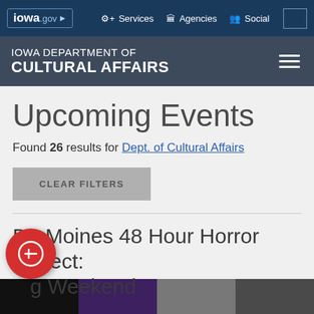iowa.gov | Services | Agencies | Social
IOWA DEPARTMENT OF CULTURAL AFFAIRS
Upcoming Events
Found 26 results for Dept. of Cultural Affairs
CLEAR FILTERS
Des Moines 48 Hour Horror Project: ng Weekend
[Figure (photo): Event image strip at the bottom of the page showing dark/purple tones]